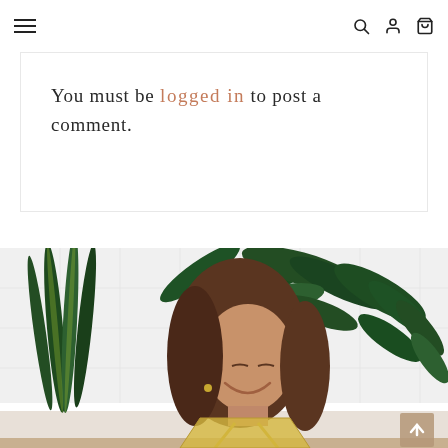Navigation header with hamburger menu, search icon, user icon, and cart icon
You must be logged in to post a comment.
[Figure (photo): A smiling woman with long brown hair, looking down, wearing a gold strappy top. Behind her are several large tropical indoor plants including snake plants and dracaena, against a white tile wall background.]